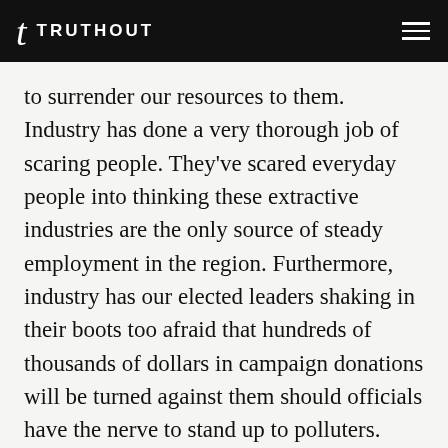TRUTHOUT
to surrender our resources to them. Industry has done a very thorough job of scaring people. They've scared everyday people into thinking these extractive industries are the only source of steady employment in the region. Furthermore, industry has our elected leaders shaking in their boots too afraid that hundreds of thousands of dollars in campaign donations will be turned against them should officials have the nerve to stand up to polluters.

And these extractive industries have maintained